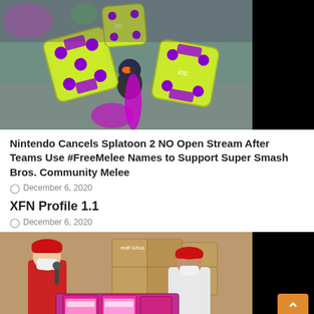[Figure (screenshot): Screenshot from Splatoon 2 video game showing a character with large yellow-green dice-shaped weapons with purple dots, set in a colorful arena. Right side is black.]
Nintendo Cancels Splatoon 2 NO Open Stream After Teams Use #FreeMelee Names to Support Super Smash Bros. Community Melee
December 6, 2020
XFN Profile 1.1
December 6, 2020
[Figure (photo): Photo of two people standing behind boxes with colorful packaged products. One person wearing red outfit and white mask holding a microphone, another wearing white shirt and red cap with white mask.]